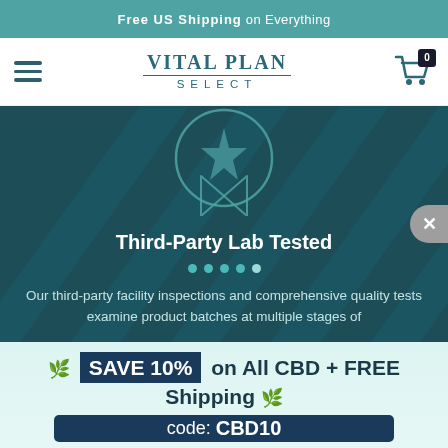Free US Shipping on Everything
[Figure (logo): Vital Plan Select logo with shopping cart icon and hamburger menu]
[Figure (illustration): Dark teal hero banner with medal/award icon, title 'Third-Party Lab Tested', dot navigation, and descriptive text about third-party facility inspections]
Our third-party facility inspections and comprehensive quality tests examine product batches at multiple stages of
🌿 SAVE 10% on All CBD + FREE Shipping 🌿
code: CBD10